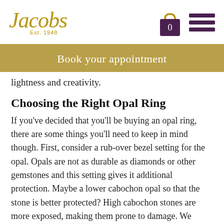Jacobs Est. 1948
Book your appointment
lightness and creativity.
Choosing the Right Opal Ring
If you've decided that you'll be buying an opal ring, there are some things you'll need to keep in mind though. First, consider a rub-over bezel setting for the opal. Opals are not as durable as diamonds or other gemstones and this setting gives it additional protection. Maybe a lower cabochon opal so that the stone is better protected? High cabochon stones are more exposed, making them prone to damage. We would also take the time to discuss your lifestyle to ensure you choose with assurance and